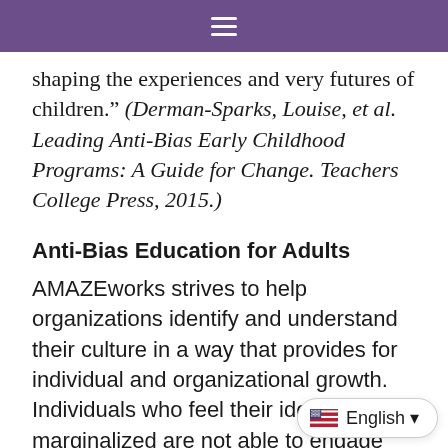☰
shaping the experiences and very futures of children." (Derman-Sparks, Louise, et al. Leading Anti-Bias Early Childhood Programs: A Guide for Change. Teachers College Press, 2015.)
Anti-Bias Education for Adults
AMAZEworks strives to help organizations identify and understand their culture in a way that provides for individual and organizational growth. Individuals who feel their identities are marginalized are not able to engage fully. In order to create a safe and equitable working en... we must address societal ineq...